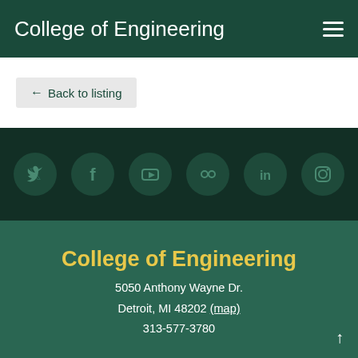College of Engineering
← Back to listing
[Figure (infographic): Row of six social media icons (Twitter, Facebook, YouTube, Flickr, LinkedIn, Instagram) on dark green background]
College of Engineering
5050 Anthony Wayne Dr.
Detroit, MI 48202 (map)
313-577-3780